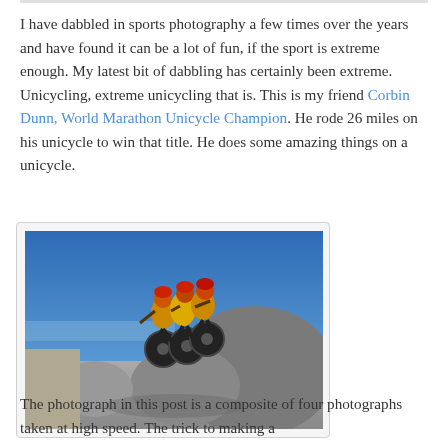I have dabbled in sports photography a few times over the years and have found it can be a lot of fun, if the sport is extreme enough. My latest bit of dabbling has certainly been extreme. Unicycling, extreme unicycling that is. This is my friend Corbin Dunn, World Marathon Unicycle Champion. He rode 26 miles on his unicycle to win that title. He does some amazing things on a unicycle.
[Figure (photo): Composite photograph of unicyclists performing extreme moves on large rocks near the sea, wearing helmets and yellow jerseys, blue sky background]
The photograph in this post is a composite of four photographs taken at high speed. The trick to making a